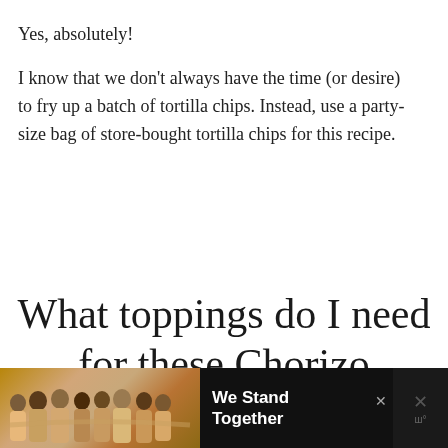Yes, absolutely!
I know that we don't always have the time (or desire) to fry up a batch of tortilla chips. Instead, use a party-size bag of store-bought tortilla chips for this recipe.
What toppings do I need for these Chorizo Breakfast Nachos?
[Figure (photo): Advertisement banner at bottom: dark background with group photo of people standing together with arms around each other, text 'We Stand Together', and close/mute icons on right side.]